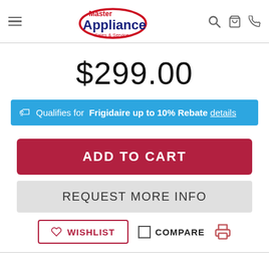Master Appliance Sales & Service
$299.00
Qualifies for Frigidaire up to 10% Rebate details
ADD TO CART
REQUEST MORE INFO
WISHLIST  COMPARE